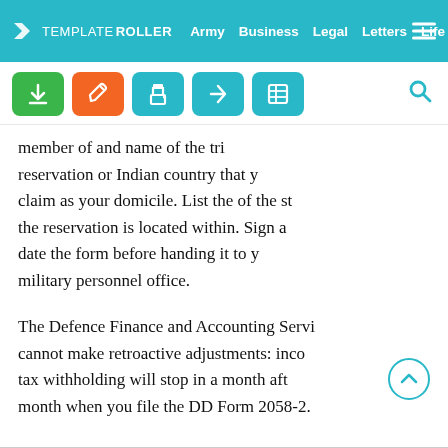TEMPLATEROLLER  Army  Business  Legal  Letters  Life
[Figure (screenshot): Toolbar with download (green), edit (orange), print (teal), share (teal), and table (teal) icon buttons, plus a search icon]
member of and name of the tribe, reservation or Indian country that you claim as your domicile. List the of the state the reservation is located within. Sign and date the form before handing it to your military personnel office.
The Defence Finance and Accounting Service cannot make retroactive adjustments: income tax withholding will stop in a month after the month when you file the DD Form 2058-2.